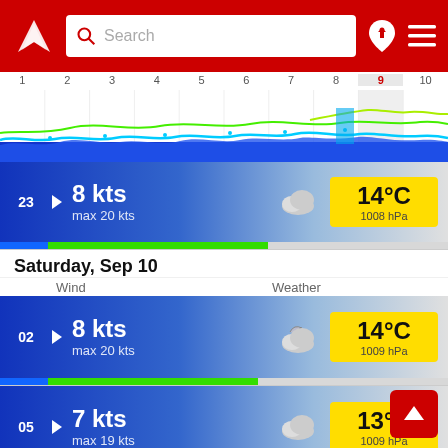[Figure (screenshot): Red app header with logo, search bar, pin icon, and hamburger menu]
[Figure (continuous-plot): Wind/wave chart strip showing days 1-10 with highlighted day 9, colored wave lines in blue, cyan, green, yellow]
23  ▶  8 kts  max 20 kts  14°C  1008 hPa
Saturday, Sep 10
Wind  Weather
02  ▶  8 kts  max 20 kts  14°C  1009 hPa
05  ▶  7 kts  max 19 kts  13°C  1009 hPa
08  ▶  5 kts  max 14 kts  13°C  1010 hPa